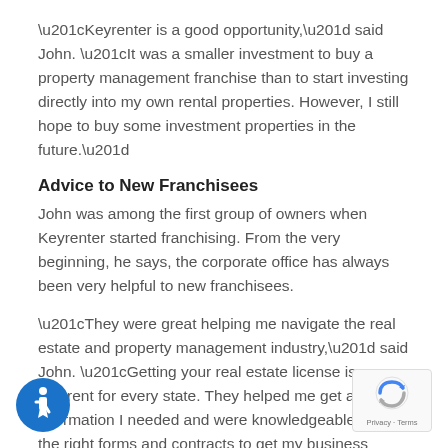“Keyrenter is a good opportunity,” said John. “It was a smaller investment to buy a property management franchise than to start investing directly into my own rental properties. However, I still hope to buy some investment properties in the future.”
Advice to New Franchisees
John was among the first group of owners when Keyrenter started franchising. From the very beginning, he says, the corporate office has always been very helpful to new franchisees.
“They were great helping me navigate the real estate and property management industry,” said John. “Getting your real estate license is different for every state. They helped me get all the information I needed and were knowledgeable about the right forms and contracts to get my business started.”
[Figure (logo): Accessibility icon: blue circle with white wheelchair user symbol]
[Figure (logo): Google reCAPTCHA badge with Privacy and Terms text]